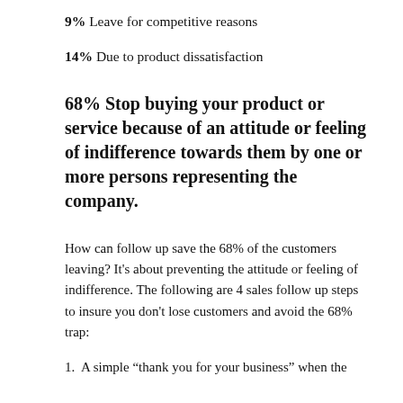9% Leave for competitive reasons
14% Due to product dissatisfaction
68% Stop buying your product or service because of an attitude or feeling of indifference towards them by one or more persons representing the company.
How can follow up save the 68% of the customers leaving? It's about preventing the attitude or feeling of indifference. The following are 4 sales follow up steps to insure you don't lose customers and avoid the 68% trap:
1. A simple “thank you for your business” when the